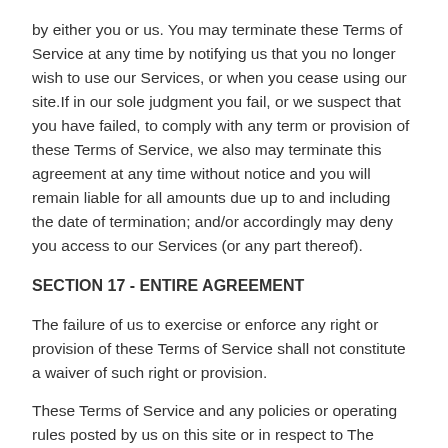by either you or us. You may terminate these Terms of Service at any time by notifying us that you no longer wish to use our Services, or when you cease using our site.If in our sole judgment you fail, or we suspect that you have failed, to comply with any term or provision of these Terms of Service, we also may terminate this agreement at any time without notice and you will remain liable for all amounts due up to and including the date of termination; and/or accordingly may deny you access to our Services (or any part thereof).
SECTION 17 - ENTIRE AGREEMENT
The failure of us to exercise or enforce any right or provision of these Terms of Service shall not constitute a waiver of such right or provision.
These Terms of Service and any policies or operating rules posted by us on this site or in respect to The Service constitutes the entire agreement and understanding between you and us and govern your use of the Service, superseding any prior or